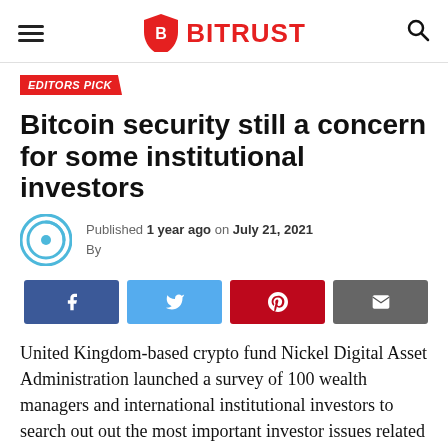BITRUST
EDITORS PICK
Bitcoin security still a concern for some institutional investors
Published 1 year ago on July 21, 2021
By
[Figure (other): Social share buttons: Facebook, Twitter, Pinterest, Email]
United Kingdom-based crypto fund Nickel Digital Asset Administration launched a survey of 100 wealth managers and international institutional investors to search out out the most important investor issues related to crypto.